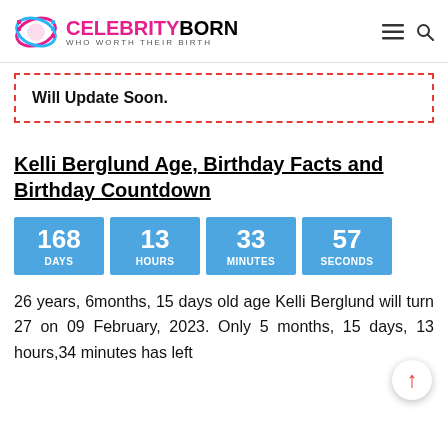CELEBRITY BORN — WHO WORTH THEIR BIRTH
Will Update Soon.
Kelli Berglund Age, Birthday Facts and Birthday Countdown
[Figure (infographic): Countdown timer showing 168 DAYS, 13 HOURS, 33 MINUTES, 57 SECONDS in blue boxes]
26 years, 6months, 15 days old age Kelli Berglund will turn 27 on 09 February, 2023. Only 5 months, 15 days, 13 hours,34 minutes has left